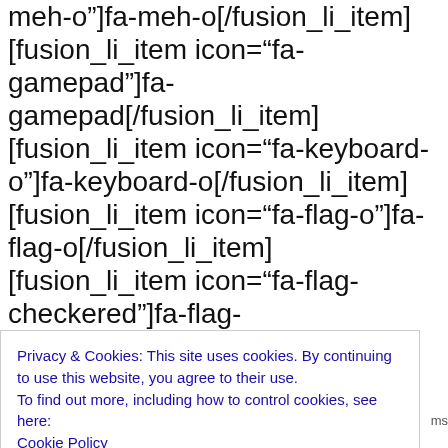meh-o"]fa-meh-o[/fusion_li_item][fusion_li_item icon="fa-gamepad"]fa-gamepad[/fusion_li_item][fusion_li_item icon="fa-keyboard-o"]fa-keyboard-o[/fusion_li_item][fusion_li_item icon="fa-flag-o"]fa-flag-o[/fusion_li_item][fusion_li_item icon="fa-flag-checkered"]fa-flag-checkered[/fusion_li_item][fusion_li_item icon="fa-terminal"]fa-terminal[/fusion_li_item][fusion_li_item icon="fa-code"]fa-code[/fusion_li_item][fusion_li_item icon="fa-reply-all"]fa-reply-
Privacy & Cookies: This site uses cookies. By continuing to use this website, you agree to their use.
To find out more, including how to control cookies, see here:
Cookie Policy
Close and accept
[fusion_li_item icon="fa-code-fork"]fa-code-